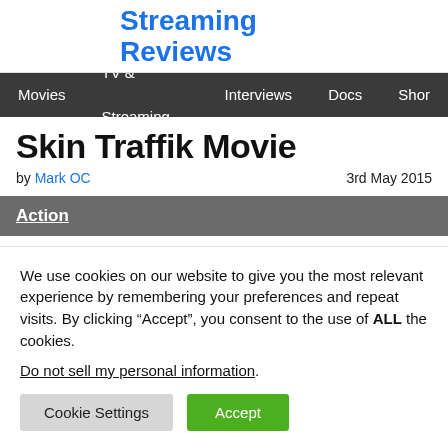Streaming Reviews
Movies  TV & Streaming  Interviews  Docs  Shor
Skin Traffik Movie
by Mark OC  3rd May 2015
Action
We use cookies on our website to give you the most relevant experience by remembering your preferences and repeat visits. By clicking “Accept”, you consent to the use of ALL the cookies. Do not sell my personal information.
Cookie Settings  Accept